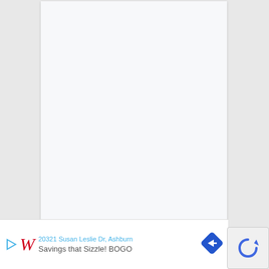[Figure (other): Blank white document page with light gray background, no visible content]
20321 Susan Leslie Dr, Ashburn
[Figure (logo): Walgreens logo: red cursive W with blue play button triangle on left]
Savings that Sizzle! BOGO
[Figure (other): Blue diamond navigation/directions icon with right-pointing arrow]